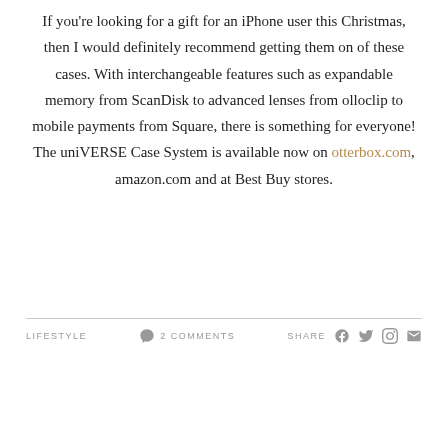If you're looking for a gift for an iPhone user this Christmas, then I would definitely recommend getting them on of these cases. With interchangeable features such as expandable memory from ScanDisk to advanced lenses from olloclip to mobile payments from Square, there is something for everyone! The uniVERSE Case System is available now on otterbox.com, amazon.com and at Best Buy stores.
LIFESTYLE   2 COMMENTS   SHARE